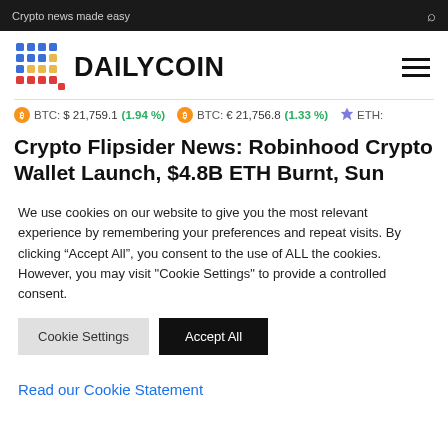Crypto news made easy
[Figure (logo): DailyCoin logo with colorful dot-grid and bold DAILYCOIN text]
BTC: $ 21,759.1 (1.94 %)   BTC: € 21,756.8 (1.33 %)   ETH:
Crypto Flipsider News: Robinhood Crypto Wallet Launch, $4.8B ETH Burnt, Sun
We use cookies on our website to give you the most relevant experience by remembering your preferences and repeat visits. By clicking “Accept All”, you consent to the use of ALL the cookies. However, you may visit "Cookie Settings" to provide a controlled consent.
Cookie Settings   Accept All
Read our Cookie Statement